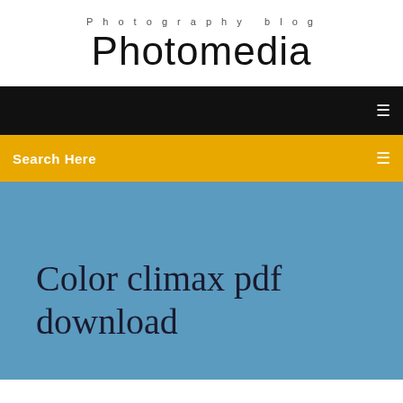Photography blog
Photomedia
Search Here
Color climax pdf download